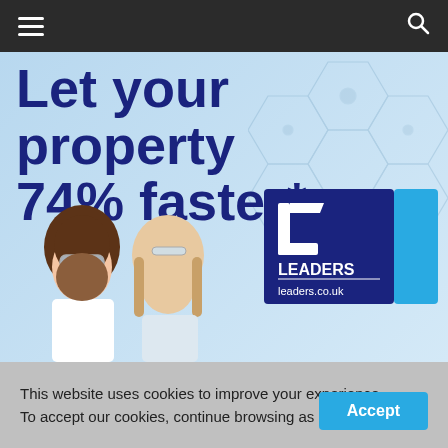Leaders lettings - navigation bar with hamburger menu and search icon
[Figure (photo): Leaders lettings promotional banner: large dark blue bold text 'Let your property 74% faster*' on light blue background with hexagon pattern. Two children (boy with curly hair and safety goggles, girl with braids) in foreground. Leaders 'TO LET' estate agent board on right showing 'LEADERS leaders.co.uk'.]
This website uses cookies to improve your experience. To accept our cookies, continue browsing as normal.
Accept